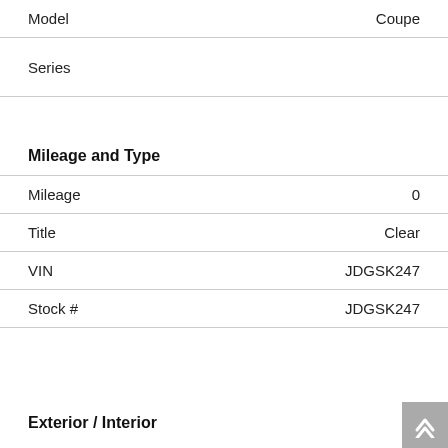| Field | Value |
| --- | --- |
| Model | Coupe |
| Series |  |
Mileage and Type
| Field | Value |
| --- | --- |
| Mileage | 0 |
| Title | Clear |
| VIN | JDGSK247 |
| Stock # | JDGSK247 |
Exterior / Interior
Body Style